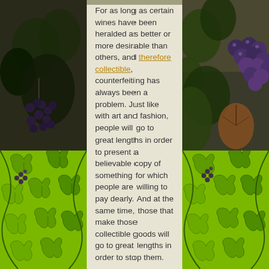[Figure (photo): Top-left photo showing dark grape vine leaves and clusters against dark background]
[Figure (photo): Top-right photo showing blue/purple grape clusters on the vine]
[Figure (illustration): Bottom-left decorative green vine and grape leaf pattern on bright green background]
[Figure (illustration): Bottom-right decorative green vine and grape leaf pattern on bright green background]
For as long as certain wines have been heralded as better or more desirable than others, and therefore collectible, counterfeiting has always been a problem. Just like with art and fashion, people will go to great lengths in order to present a believable copy of something for which people are willing to pay dearly. And at the same time, those that make those collectible goods will go to great lengths in order to stop them.

While today we have microchips and scannable barcodes to help maintain a wine's true origin – though often that isn't even enough to stop a skilled